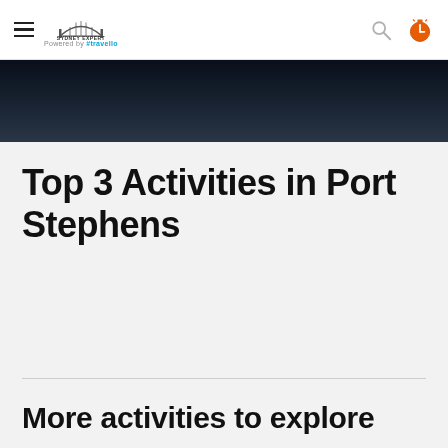Sydney Expert powered by travello
[Figure (photo): Dark hero image with water/harbour at night]
Top 3 Activities in Port Stephens
More activities to explore